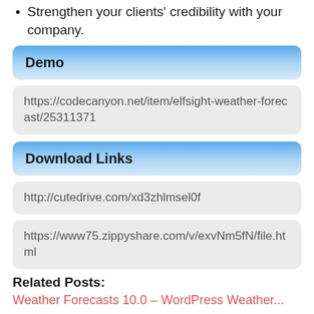Strengthen your clients' credibility with your company.
Demo
https://codecanyon.net/item/elfsight-weather-forecast/25311371
Download Links
http://cutedrive.com/xd3zhlmsel0f
https://www75.zippyshare.com/v/exvNm5fN/file.html
Related Posts:
Weather Forecasts 10.0 – WordPress Weather...